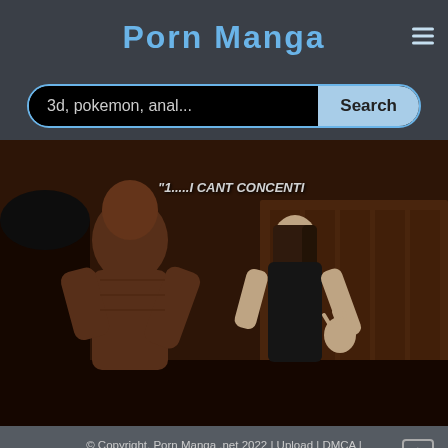Porn Manga
3d, pokemon, anal...
[Figure (screenshot): 3D rendered animation screenshot showing two figures in a dark indoor scene. White text overlay reads: "1.....I CANT CONCENTI"]
© Copyright. Porn Manga .net 2022 | Upload | DMCA | 2257